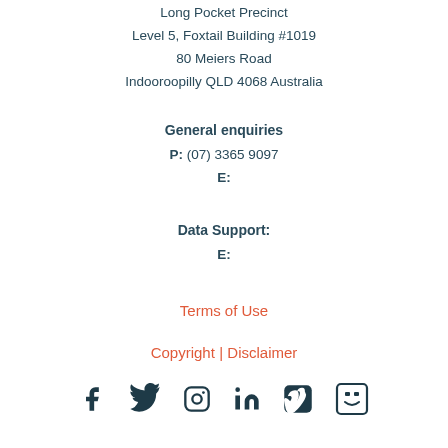Long Pocket Precinct
Level 5, Foxtail Building #1019
80 Meiers Road
Indooroopilly QLD 4068 Australia
General enquiries
P: (07) 3365 9097
E:
Data Support:
E:
Terms of Use
Copyright | Disclaimer
[Figure (illustration): Row of six social media icons: Facebook, Twitter, Instagram, LinkedIn, Vimeo, Flickr/SlideShare]